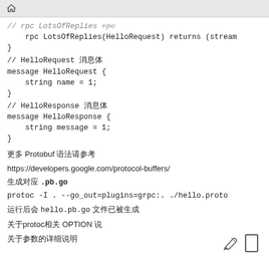// rpc LotsOfReplies rpc LotsOfReplies(HelloRequest) returns (stream }
// HelloRequest 消息体
message HelloRequest {
    string name = 1;
}
// HelloResponse 消息体
message HelloResponse {
    string message = 1;
}
更多 Protobuf 语法请参考
https://developers.google.com/protocol-buffers/
生成对应 .pb.go
protoc -I . --go_out=plugins=grpc:. ./hello.proto
运行后会 hello.pb.go 文件已被生成
关于protoc相关 OPTION 说
关于参数的详细说明